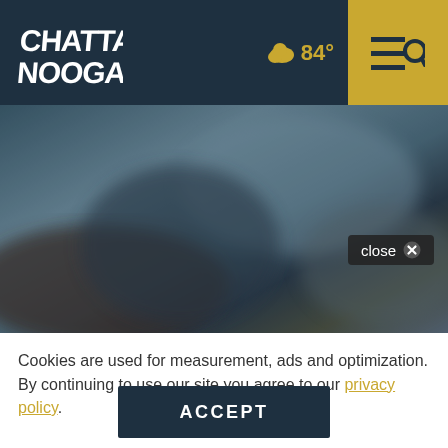Chattanooga
[Figure (screenshot): Blurred hero image of people outdoors with a close button overlay]
Cookies are used for measurement, ads and optimization. By continuing to use our site you agree to our privacy policy.
ACCEPT